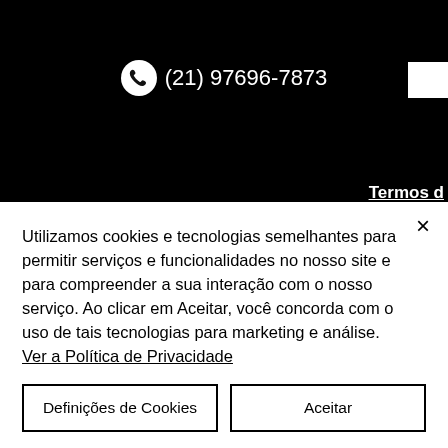(21) 97696-7873
Termos d
Utilizamos cookies e tecnologias semelhantes para permitir serviços e funcionalidades no nosso site e para compreender a sua interação com o nosso serviço. Ao clicar em Aceitar, você concorda com o uso de tais tecnologias para marketing e análise. Ver a Política de Privacidade
Definições de Cookies
Aceitar